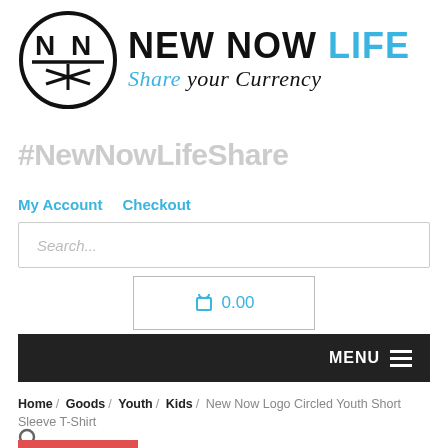[Figure (logo): New Now Life logo: circle with NN and asterisk symbol, plus brand name 'NEW NOW LIFE' and tagline 'Share your Currency']
#NewNowLifeShare
My Account
Checkout
Search...
0.00
MENU
Home / Goods / Youth / Kids / New Now Logo Circled Youth Short Sleeve T-Shirt